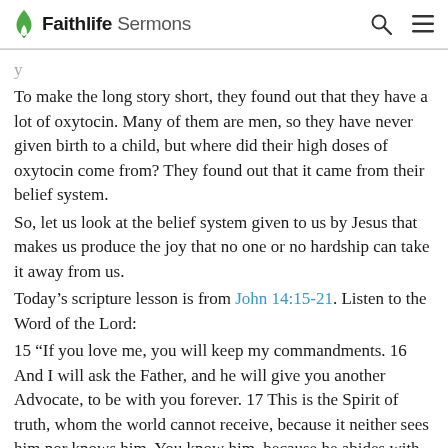Faithlife Sermons
To make the long story short, they found out that they have a lot of oxytocin. Many of them are men, so they have never given birth to a child, but where did their high doses of oxytocin come from? They found out that it came from their belief system.
So, let us look at the belief system given to us by Jesus that makes us produce the joy that no one or no hardship can take it away from us.
Today's scripture lesson is from John 14:15-21. Listen to the Word of the Lord:
15 “If you love me, you will keep my commandments. 16 And I will ask the Father, and he will give you another Advocate, to be with you forever. 17 This is the Spirit of truth, whom the world cannot receive, because it neither sees him nor knows him. You know him, because he abides with you, and he will be